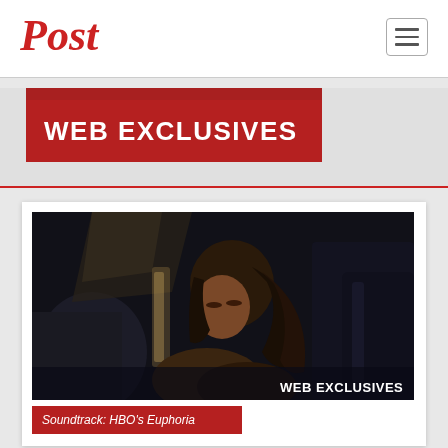Post
WEB EXCLUSIVES
[Figure (photo): Dark photograph of a young woman with curly hair sitting in a car interior, looking down, with dim ambient lighting. Text overlay reads 'WEB EXCLUSIVES' in the lower right corner.]
Soundtrack: HBO's Euphoria